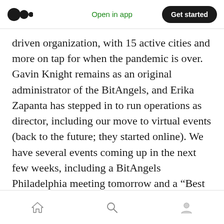[Figure (screenshot): Medium app top navigation bar with Medium logo (two overlapping circles), 'Open in app' green link, and 'Get started' black pill button]
driven organization, with 15 active cities and more on tap for when the pandemic is over. Gavin Knight remains as an original administrator of the BitAngels, and Erika Zapanta has stepped in to run operations as director, including our move to virtual events (back to the future; they started online). We have several events coming up in the next few weeks, including a BitAngels Philadelphia meeting tomorrow and a “Best of Cities” this Friday, May 22.
Complete information and signups are at https://www.bitangels.network/events
[Figure (screenshot): Mobile app bottom navigation bar with home icon, search/magnifying glass icon, and user/profile icon]